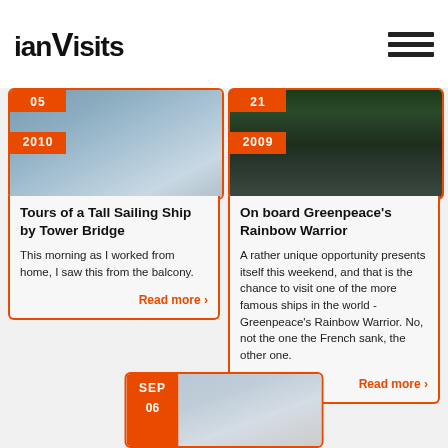ianVisits
[Figure (photo): Tall sailing ship on the Thames near Tower Bridge, 2010]
Tours of a Tall Sailing Ship by Tower Bridge
This morning as I worked from home, I saw this from the balcony.
Read more ›
[Figure (photo): Greenpeace Rainbow Warrior ship docked, 2009]
On board Greenpeace's Rainbow Warrior
A rather unique opportunity presents itself this weekend, and that is the chance to visit one of the more famous ships in the world - Greenpeace's Rainbow Warrior. No, not the one the French sank, the other one.
Read more ›
[Figure (photo): Third article partial image, SEP 06, sailing vessel]